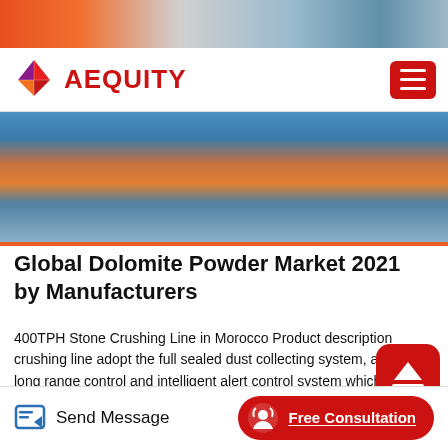[Figure (photo): Top image strip showing industrial/machinery scene with orange and grey tones]
AEQUITY
[Figure (photo): Wide banner image of industrial stone crushing line equipment, orange and blue tones]
Global Dolomite Powder Market 2021 by Manufacturers
400TPH Stone Crushing Line in Morocco Product description crushing line adopt the full sealed dust collecting system, and long range control and intelligent alert control system which can achieve the automatic production while protecting the local environment.Wulfenite is a favorite among mineral collectors. It forms outstanding crystals and aggregates in a vibrant color that few minerals can match. Wulfenite forms a series with the rarer mineral
Send Message  Free Consultation